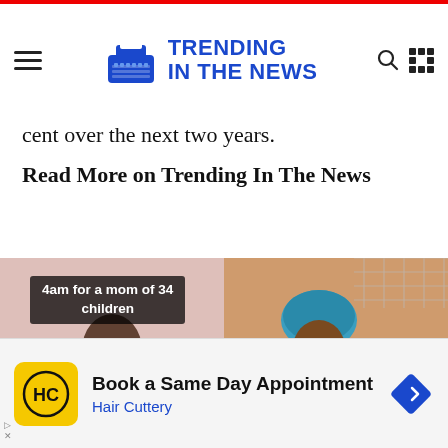TRENDING IN THE NEWS
cent over the next two years.
Read More on Trending In The News
[Figure (photo): Two side-by-side photos: left shows a woman with braids with overlay text '4am for a mom of 34 children'; right shows a woman in a blue head wrap looking down at a child.]
[Figure (infographic): Advertisement banner: Hair Cuttery logo, text 'Book a Same Day Appointment', 'Hair Cuttery']